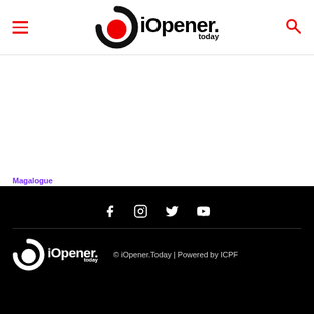iOpener.today
Magalogue
What next, What now?
iOpener Team - August 23, 2022
© iOpener.Today | Powered by ICPF